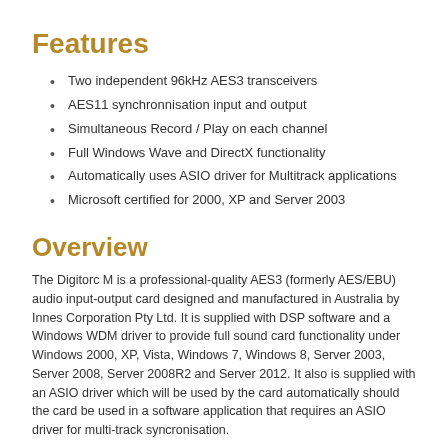Features
Two independent 96kHz AES3 transceivers
AES11 synchronnisation input and output
Simultaneous Record / Play on each channel
Full Windows Wave and DirectX functionality
Automatically uses ASIO driver for Multitrack applications
Microsoft certified for 2000, XP and Server 2003
Overview
The Digitorc M is a professional-quality AES3 (formerly AES/EBU) audio input-output card designed and manufactured in Australia by Innes Corporation Pty Ltd. It is supplied with DSP software and a Windows WDM driver to provide full sound card functionality under Windows 2000, XP, Vista, Windows 7, Windows 8, Server 2003, Server 2008, Server 2008R2 and Server 2012. It also is supplied with an ASIO driver which will be used by the card automatically should the card be used in a software application that requires an ASIO driver for multi-track syncronisation.
The card has two AES3 inputs and two AES3 outputs, all of which operate independently. An AES11 external synchronisation input and output is also provided.